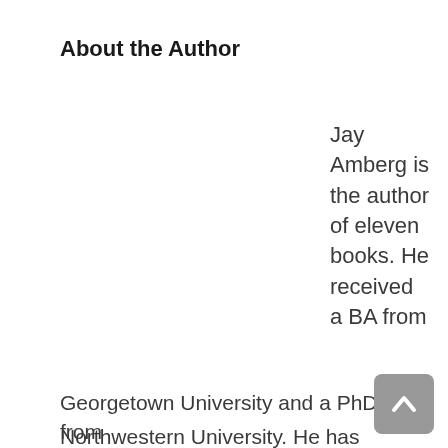About the Author
Jay Amberg is the author of eleven books. He received a BA from Georgetown University and a PhD from Northwestern University. He has taught high school
[Figure (other): Scroll-to-top button, grey rounded square with white upward arrow icon]